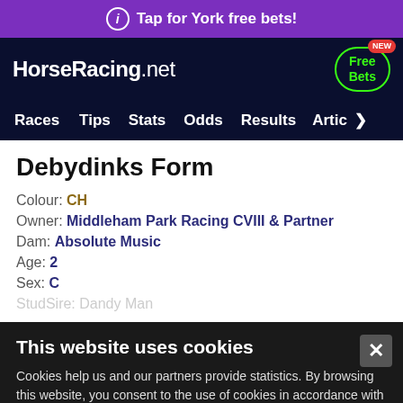Tap for York free bets!
[Figure (screenshot): HorseRacing.net logo with Free Bets button]
Races  Tips  Stats  Odds  Results  Artic
Debydinks Form
Colour: CH
Owner: Middleham Park Racing CVIII & Partner
Dam: Absolute Music
Age: 2
Sex: C
StudSire: Dandy Man
This website uses cookies
Cookies help us and our partners provide statistics. By browsing this website, you consent to the use of cookies in accordance with our Cookies Policy.
Accept & Close